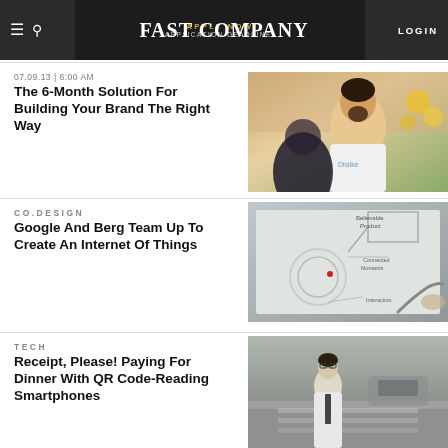FAST COMPANY | LOGIN
07.09.13 | 6:00 AM
The 6-Month Solution For Building Your Brand The Right Way
[Figure (photo): Photo of a man with dark beard wearing a white t-shirt with 'Dislike' text, outdoors with yellow flowers in background]
CO.DESIGN
Google And Berg Team Up To Create An Internet Of Things
[Figure (photo): Photo of a whiteboard diagram showing design concepts including 'Believable Product', 'Connected Moments', 'Interaction' with sketched product illustrations]
TECH
Receipt, Please! Paying For Dinner With QR Code-Reading Smartphones